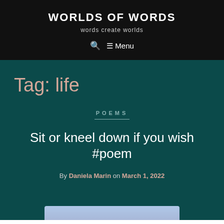WORLDS OF WORDS
words create worlds
🔍 ☰ Menu
Tag: life
POEMS
Sit or kneel down if you wish #poem
By Daniela Marin on March 1, 2022